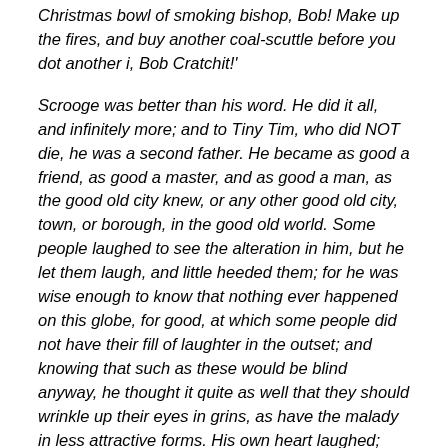Christmas bowl of smoking bishop, Bob! Make up the fires, and buy another coal-scuttle before you dot another i, Bob Cratchit!'
Scrooge was better than his word. He did it all, and infinitely more; and to Tiny Tim, who did NOT die, he was a second father. He became as good a friend, as good a master, and as good a man, as the good old city knew, or any other good old city, town, or borough, in the good old world. Some people laughed to see the alteration in him, but he let them laugh, and little heeded them; for he was wise enough to know that nothing ever happened on this globe, for good, at which some people did not have their fill of laughter in the outset; and knowing that such as these would be blind anyway, he thought it quite as well that they should wrinkle up their eyes in grins, as have the malady in less attractive forms. His own heart laughed;